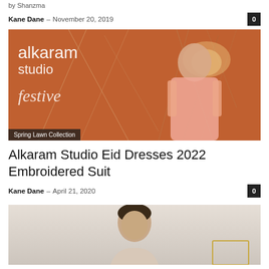by Shanzma
Kane Dane – November 20, 2019
[Figure (photo): Alkaram Studio festive collection promotional image showing a model in pink embroidered outfit against an orange background with chandelier decorations and text 'alkaram studio festive']
Spring Lawn Collection
Alkaram Studio Eid Dresses 2022 Embroidered Suit
Kane Dane – April 21, 2020
[Figure (photo): Partial view of a model photographed from head/shoulders area against a light background]